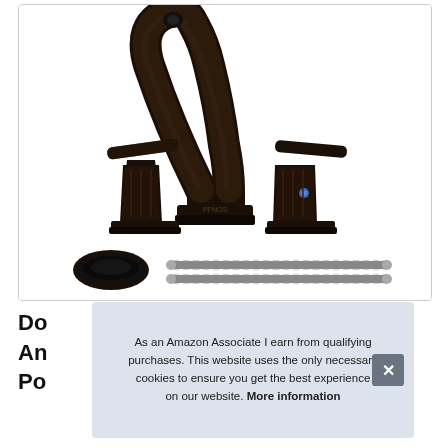[Figure (photo): Product photo of a dark oil-rubbed bronze widespread bathroom faucet with two lever handles and an arched spout, shown with accessories including a drain cover and two braided supply hoses, on a white background inside a rounded-corner box.]
Do
An
Po
As an Amazon Associate I earn from qualifying purchases. This website uses the only necessary cookies to ensure you get the best experience on our website. More information